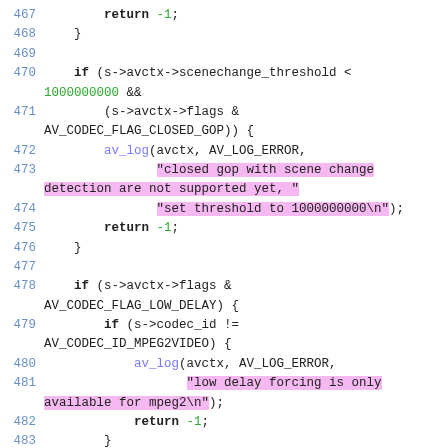[Figure (screenshot): Source code listing in C showing lines 467-485 of a video codec implementation. Lines with string literals are highlighted in pink/magenta. Line numbers are in blue on the left.]